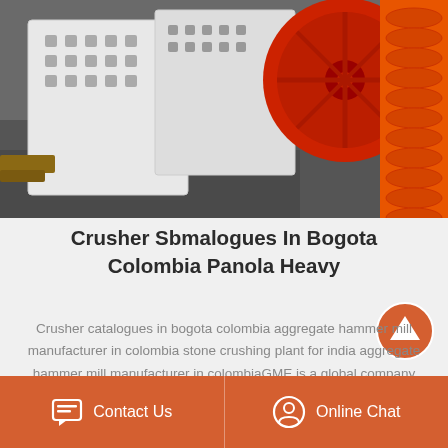[Figure (photo): Industrial machinery photo showing white jaw crusher equipment and orange spiral conveyor/screw component on a gray floor in a warehouse setting]
Crusher Sbmalogues In Bogota Colombia Panola Heavy
Crusher catalogues in bogota colombia aggregate hammer mill manufacturer in colombia stone crushing plant for india aggregate hammer mill manufacturer in colombiaGME is a global company with products sold to more than 70 countries in the world washing grinding equipment in…
Read More >
Contact Us  Online Chat